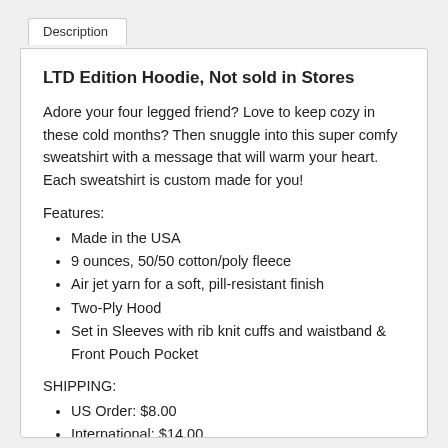Description
LTD Edition Hoodie, Not sold in Stores
Adore your four legged friend? Love to keep cozy in these cold months? Then snuggle into this super comfy sweatshirt with a message that will warm your heart. Each sweatshirt is custom made for you!
Features:
Made in the USA
9 ounces, 50/50 cotton/poly fleece
Air jet yarn for a soft, pill-resistant finish
Two-Ply Hood
Set in Sleeves with rib knit cuffs and waistband & Front Pouch Pocket
SHIPPING:
US Order: $8.00
International: $14.00
Arrives Within 2 Weeks